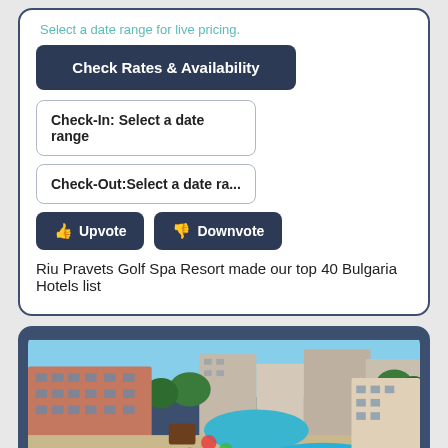Select a date range for live pricing.
Check Rates & Availability
Check-In: Select a date range
Check-Out:Select a date ra...
Upvote
Downvote
Riu Pravets Golf Spa Resort made our top 40 Bulgaria Hotels list
[Figure (photo): Aerial view of a hotel resort complex with two swimming pools surrounded by sun loungers, pink multi-story buildings, trees, and other buildings in the background under a clear blue sky.]